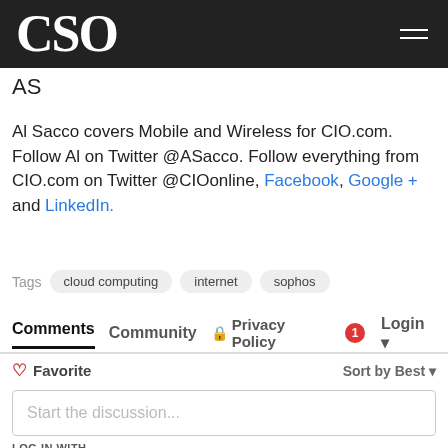CSO
AS
Al Sacco covers Mobile and Wireless for CIO.com. Follow Al on Twitter @ASacco. Follow everything from CIO.com on Twitter @CIOonline, Facebook, Google + and LinkedIn.
Tags: cloud computing, internet, sophos
Comments  Community  Privacy Policy  1  Login
Favorite  Sort by Best
Start the discussion...
LOG IN WITH